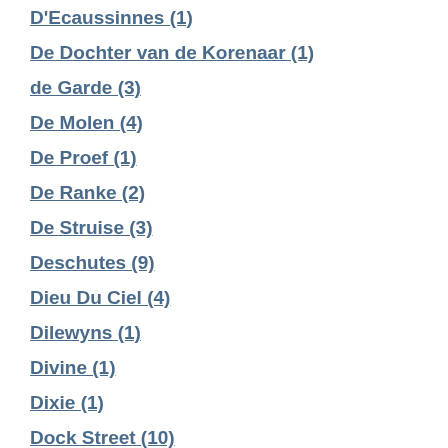D'Ecaussinnes (1)
De Dochter van de Korenaar (1)
de Garde (3)
De Molen (4)
De Proef (1)
De Ranke (2)
De Struise (3)
Deschutes (9)
Dieu Du Ciel (4)
Dilewyns (1)
Divine (1)
Dixie (1)
Dock Street (10)
Dogfish Head (16)
Dominion (2)
Double Nickel (1)
Draai Laag (1)
Drake's (1)
Drie Fonteinen (7)
Duck Rabbit (4)
DuClaw (8)